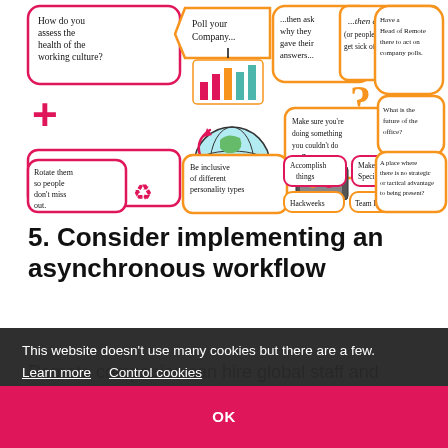[Figure (infographic): Hand-drawn style infographic about remote work culture. Contains speech bubbles and thought bubbles with text: 'How do you assess the health of the working culture?', 'Poll your Company...', '...then ask why they gave their answers...', '...then act! (or people will get sick of polls)', 'Have a Head of Remote there to act on company polls.', 'Company wide trips & Area-specific meetups', a globe illustration, 'Make sure you're doing something you couldn't do on Zoom', 'What is the future of the office?', 'Library?', 'Coffee shop?', 'Rotate them so people don't miss out.', 'Be inclusive of different personality types', 'Accomplish things', 'Make time Special', 'A place where there is no strategic or tactical advantage to being present?', 'Hackweeks', 'Team Bonding'. Bar chart illustration inside a speech bubble.]
5. Consider implementing an asynchronous workflow
Remote companies can hire global staff and allow their employees to easily relocate, but the downside is teams having [...]en it